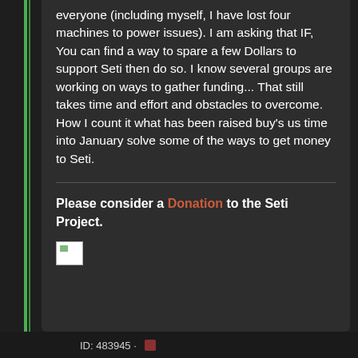everyone (including myself, I have lost four machines to power issues). I am asking that IF, You can find a way to spare a few Dollars to support Seti then do so. I know several groups are working on ways to gather funding... That still takes time and effort and obstacles to overcome. How I count it what has been raised buy's us time into January solve some of the ways to get money to Seti.
Please consider a Donation to the Seti Project.
[Figure (other): Broken/missing image placeholder (small white rectangle with green corner detail)]
ID: 483945 ·